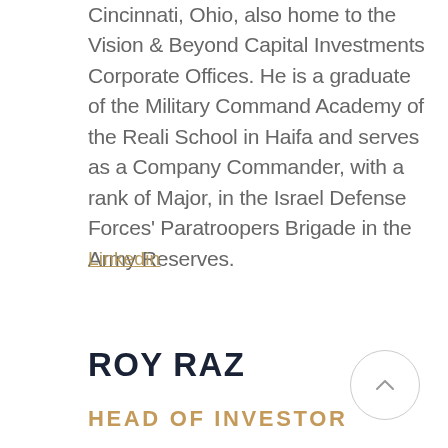Cincinnati, Ohio, also home to the Vision & Beyond Capital Investments Corporate Offices. He is a graduate of the Military Command Academy of the Reali School in Haifa and serves as a Company Commander, with a rank of Major, in the Israel Defense Forces' Paratroopers Brigade in the Army Reserves.
Linkedin
ROY RAZ
HEAD OF INVESTOR